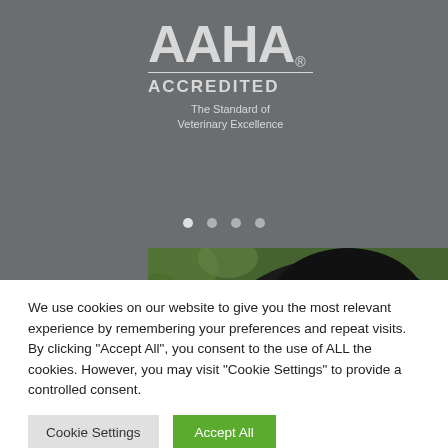[Figure (logo): AAHA Accredited logo — 'AAHA' in large bold grey letters with registered trademark symbol, underline, 'ACCREDITED' in spaced capitals, and 'The Standard of Veterinary Excellence' in smaller text. All on dark grey background.]
[Figure (photo): Partial photo of a black Labrador dog looking over a surface with green foliage background. Text overlay reads 'VISIT OUR' in white bold capitals.]
We use cookies on our website to give you the most relevant experience by remembering your preferences and repeat visits. By clicking "Accept All", you consent to the use of ALL the cookies. However, you may visit "Cookie Settings" to provide a controlled consent.
Cookie Settings
Accept All